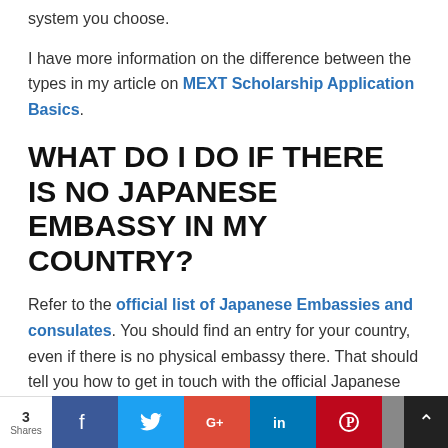system you choose.
I have more information on the difference between the types in my article on MEXT Scholarship Application Basics.
WHAT DO I DO IF THERE IS NO JAPANESE EMBASSY IN MY COUNTRY?
Refer to the official list of Japanese Embassies and consulates. You should find an entry for your country, even if there is no physical embassy there. That should tell you how to get in touch with the official Japanese representative for your country. (It may be located in a neighboring country).
DO I HAVE TO APPLY TO THE
3 Shares | Facebook | Twitter | Google+ | LinkedIn | Pinterest | Email | Crown